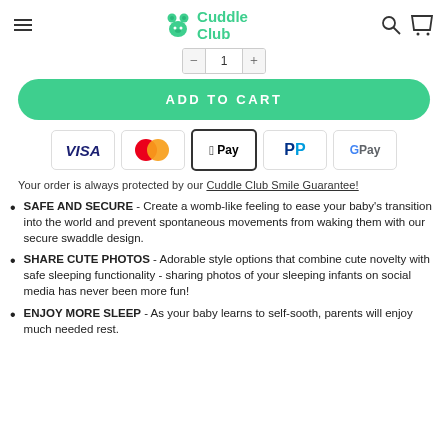Cuddle Club
[Figure (other): Quantity selector with minus and plus buttons]
[Figure (other): ADD TO CART green rounded button]
[Figure (other): Payment method icons: VISA, Mastercard, Apple Pay, PayPal, Google Pay]
Your order is always protected by our Cuddle Club Smile Guarantee!
SAFE AND SECURE - Create a womb-like feeling to ease your baby's transition into the world and prevent spontaneous movements from waking them with our secure swaddle design.
SHARE CUTE PHOTOS - Adorable style options that combine cute novelty with safe sleeping functionality - sharing photos of your sleeping infants on social media has never been more fun!
ENJOY MORE SLEEP - As your baby learns to self-sooth, parents will enjoy much needed rest.